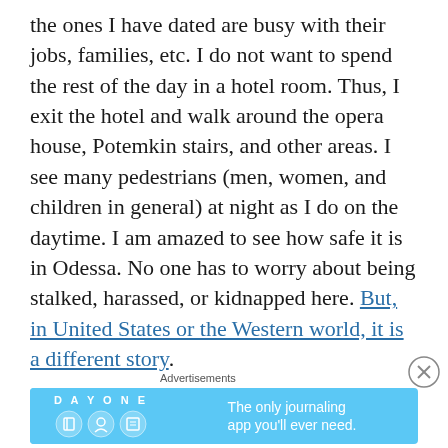the ones I have dated are busy with their jobs, families, etc. I do not want to spend the rest of the day in a hotel room. Thus, I exit the hotel and walk around the opera house, Potemkin stairs, and other areas. I see many pedestrians (men, women, and children in general) at night as I do on the daytime. I am amazed to see how safe it is in Odessa. No one has to worry about being stalked, harassed, or kidnapped here. But, in United States or the Western world, it is a different story.
[Figure (other): Close (X) button circle icon for dismissing advertisement]
Advertisements
[Figure (illustration): Day One journaling app advertisement banner with blue background, DAY ONE logo, app icons, and text 'The only journaling app you'll ever need.']